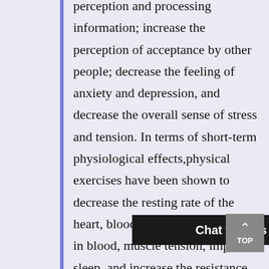perception and processing information; increase the perception of acceptance by other people; decrease the feeling of anxiety and depression, and decrease the overall sense of stress and tension. In terms of short-term physiological effects,physical exercises have been shown to decrease the resting rate of the heart, blood pressure, cholesterol in blood, muscle tension, improve sleep, and increase the resistance to cold and... erm,